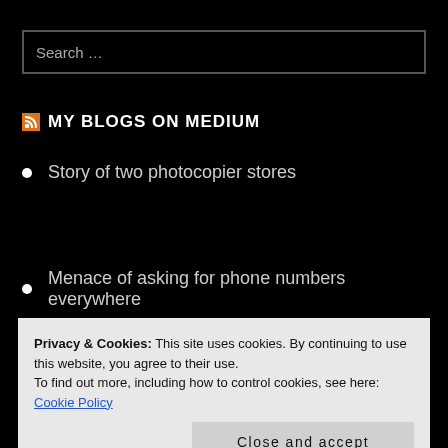Search …
MY BLOGS ON MEDIUM
Story of two photocopier stores
Menace of asking for phone numbers everywhere
Privacy & Cookies: This site uses cookies. By continuing to use this website, you agree to their use.
To find out more, including how to control cookies, see here: Cookie Policy
Close and accept
Quality Control vs Quality Assurance